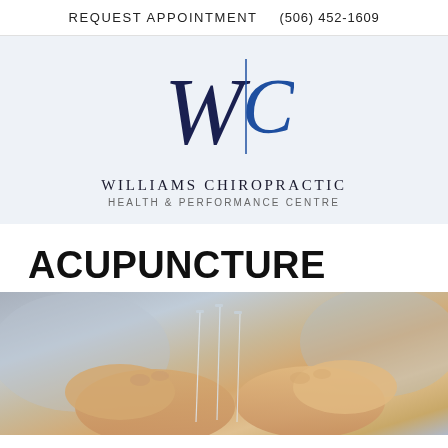REQUEST APPOINTMENT   (506) 452-1609
[Figure (logo): Williams Chiropractic Health & Performance Centre logo with stylized WC monogram in navy and blue]
ACUPUNCTURE
[Figure (photo): Close-up photo of hands holding acupuncture needles]